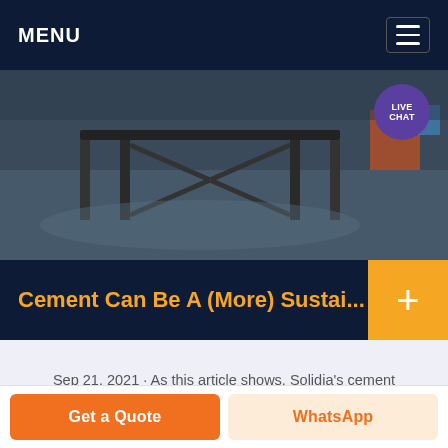MENU
[Figure (photo): Industrial facility interior with metal equipment/conveyor structure on a concrete floor. LIVE CHAT bubble visible in upper right.]
Cement Can Be A (More) Sustai...
Sep 21, 2021 · As this article shows, Solidia's cement concrete blocks capture about 240 kg of carbon dioxide for every 1,000 kg of cement used in the mix. This is in addition to lower amount of emissions ...
Get a Quote   WhatsApp